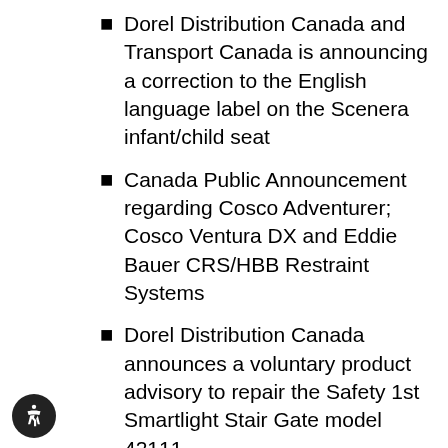Dorel Distribution Canada and Transport Canada is announcing a correction to the English language label on the Scenera infant/child seat
Canada Public Announcement regarding Cosco Adventurer; Cosco Ventura DX and Eddie Bauer CRS/HBB Restraint Systems
Dorel Distribution Canada announces a voluntary product advisory to repair the Safety 1st Smartlight Stair Gate model 42111.
Dorel Distribution Canada is announcing today a voluntary product advisory to repair the Schwinn Runabout bike trailer model # 04SC250.
Canada Public Announcement regarding Cosco Alpha Omega; Cosco…